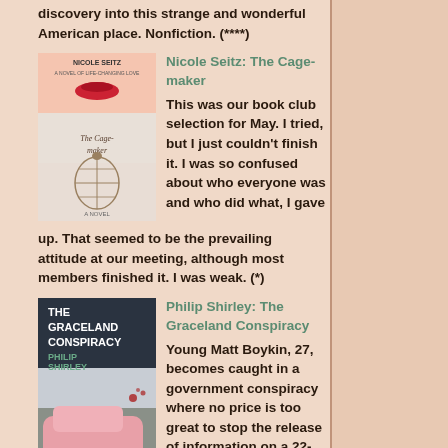discovery into this strange and wonderful American place. Nonfiction. (****)
Nicole Seitz: The Cagemaker
[Figure (photo): Book cover of 'The Cagemaker' by Nicole Seitz, showing a woman's face with red lips and a birdcage]
This was our book club selection for May. I tried, but I just couldn't finish it. I was so confused about who everyone was and who did what, I gave up. That seemed to be the prevailing attitude at our meeting, although most members finished it. I was weak. (*)
Philip Shirley: The Graceland Conspiracy
[Figure (photo): Book cover of 'The Graceland Conspiracy' by Philip Shirley, showing a pink vintage car and the author's name in bold]
Young Matt Boykin, 27, becomes caught in a government conspiracy where no price is too great to stop the release of information on a 22-